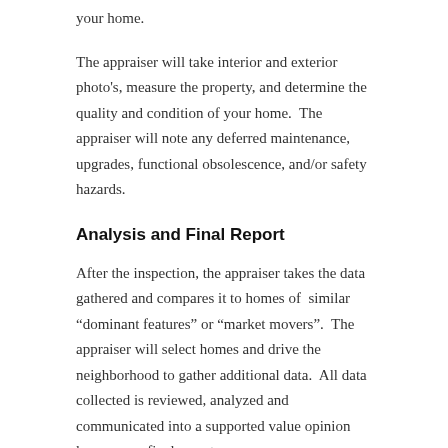your home.
The appraiser will take interior and exterior photo’s, measure the property, and determine the quality and condition of your home.  The appraiser will note any deferred maintenance, upgrades, functional obsolescence, and/or safety hazards.
Analysis and Final Report
After the inspection, the appraiser takes the data gathered and compares it to homes of  similar “dominant features” or “market movers”.  The appraiser will select homes and drive the neighborhood to gather additional data.  All data collected is reviewed, analyzed and communicated into a supported value opinion known as a final report.
Submission